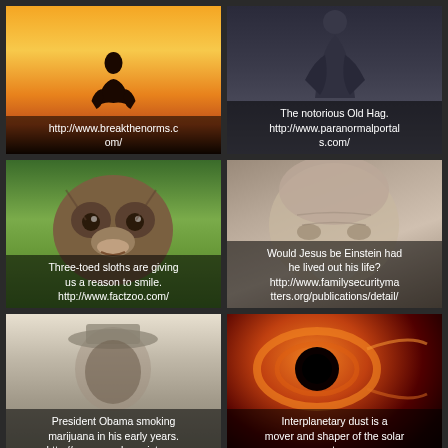[Figure (photo): Silhouette of a meditating person against a dramatic orange sunset sky]
http://www.breakthenorms.com/
[Figure (photo): Dark illustration of a cloaked figure, the notorious Old Hag]
The notorious Old Hag. http://www.paranormalportals.com/
[Figure (photo): Close-up photo of a three-toed sloth face against green foliage]
Three-toed sloths are giving us a reason to smile. http://www.factzoo.com/
[Figure (photo): Close-up of an elderly bearded man's face, blurred]
Would Jesus be Einstein had he lived out his life? http://www.familysecuritymatters.org/publications/detail/
[Figure (photo): Black and white photo of President Obama smoking in his early years]
President Obama smoking marijuana in his early years. http://www.popularresistance
[Figure (photo): Dark space image of a black hole with glowing orange dust swirls]
Interplanetary dust is a mover and shaper of the solar system.
[Figure (photo): Partial view of a person's face, black and white, bottom row left]
[Figure (photo): Partial dark reddish space image, bottom row right]